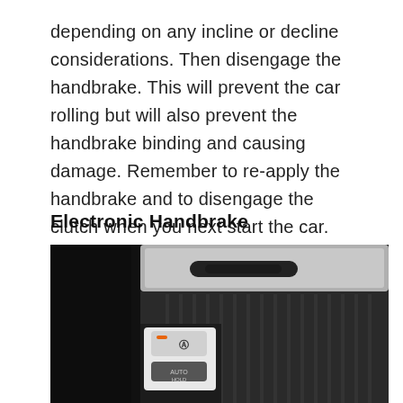depending on any incline or decline considerations. Then disengage the handbrake. This will prevent the car rolling but will also prevent the handbrake binding and causing damage. Remember to re-apply the handbrake and to disengage the clutch when you next start the car.
Electronic Handbrake
[Figure (photo): Close-up photo of a car interior center console showing an electronic handbrake button and related controls, with ribbed plastic trim and aluminum-look accents.]